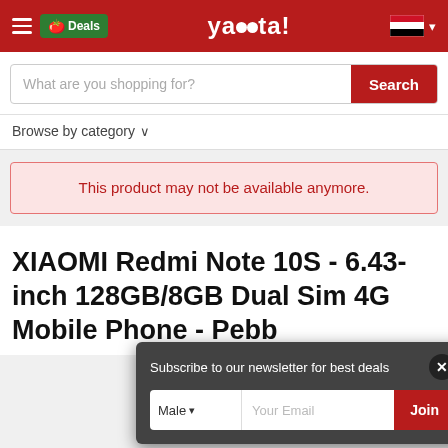yacota! - Deals - Egypt
What are you shopping for?
Browse by category
This product may not be available anymore.
XIAOMI Redmi Note 10S - 6.43-inch 128GB/8GB Dual Sim 4G Mobile Phone - Pebb...
Subscribe to our newsletter for best deals